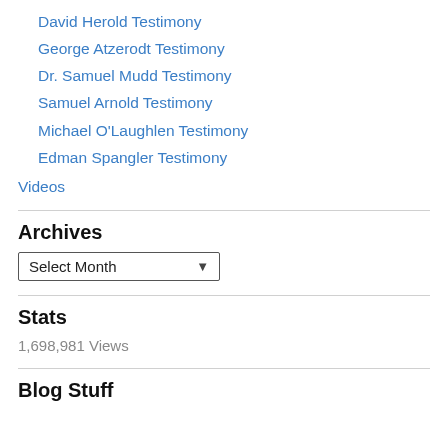David Herold Testimony
George Atzerodt Testimony
Dr. Samuel Mudd Testimony
Samuel Arnold Testimony
Michael O'Laughlen Testimony
Edman Spangler Testimony
Videos
Archives
Select Month
Stats
1,698,981 Views
Blog Stuff